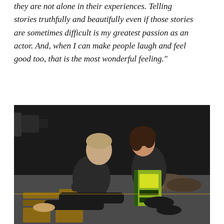they are not alone in their experiences. Telling stories truthfully and beautifully even if those stories are sometimes difficult is my greatest passion as an actor. And, when I can make people laugh and feel good too, that is the most wonderful feeling."
[Figure (photo): Two actors seated on a wooden bench on a stage with dark background. A man in black long-sleeve shirt sits facing left, turned toward a woman who holds a book with a green/yellow cover and smiles. Stage floor is visible.]